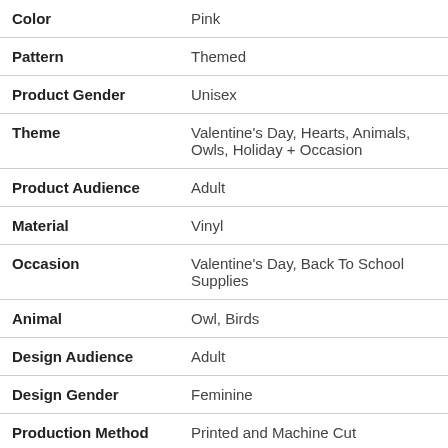| Attribute | Value |
| --- | --- |
| Color | Pink |
| Pattern | Themed |
| Product Gender | Unisex |
| Theme | Valentine's Day, Hearts, Animals, Owls, Holiday + Occasion |
| Product Audience | Adult |
| Material | Vinyl |
| Occasion | Valentine's Day, Back To School Supplies |
| Animal | Owl, Birds |
| Design Audience | Adult |
| Design Gender | Feminine |
| Production Method | Printed and Machine Cut |